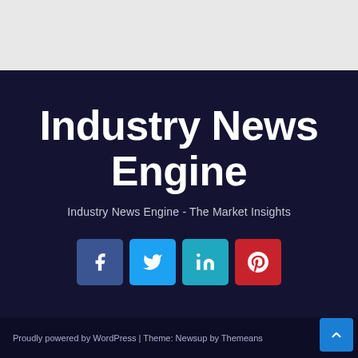Industry News Engine
Industry News Engine - The Market Insights
[Figure (other): Social media icon buttons: Facebook, Twitter, LinkedIn, Pinterest]
Proudly powered by WordPress | Theme: Newsup by Themeans